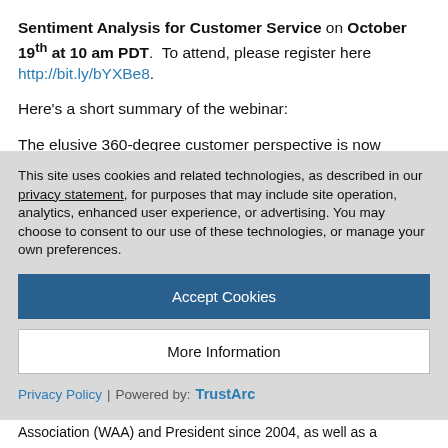Sentiment Analysis for Customer Service on October 19th at 10 am PDT. To attend, please register here http://bit.ly/bYXBe8.
Here's a short summary of the webinar:
The elusive 360-degree customer perspective is now accessible for the first time, thanks to new social tools and technology innovations. Combined with smart strategy, these tools can yield powerful sentiment analysis insight that will provide new opportunities to engage with customers and prospects and build
This site uses cookies and related technologies, as described in our privacy statement, for purposes that may include site operation, analytics, enhanced user experience, or advertising. You may choose to consent to our use of these technologies, or manage your own preferences.
Accept Cookies
More Information
Privacy Policy | Powered by: TrustArc
Association (WAA) and President since 2004, as well as a